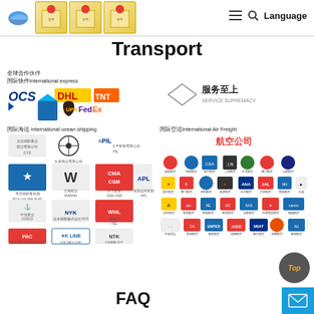Language
Transport
[Figure (logo): OCS, DHL, TNT, UPS, FedEx international express partner logos]
全球合作伙伴 国际快件International express
[Figure (logo): 服务至上 SERVICE SUPREMACY diamond badge]
国际海运 International ocean shipping
[Figure (logo): International ocean shipping carrier logos: PIL, Maersk, W, CMA-CGM, APL, COSCO, NYK, WAN HAI, K-LINE, NTK, PAC MOLLOYS and others]
国际空运International Air Freight
[Figure (logo): 航空公司 - Multiple airline logos in grid layout]
FAQ